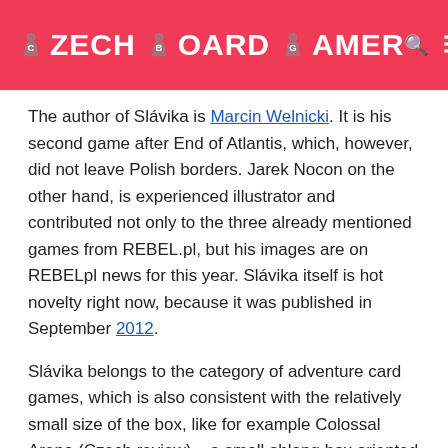CZECH BOARD GAMER
The author of Slávika is Marcin Welnicki. It is his second game after End of Atlantis, which, however, did not leave Polish borders. Jarek Nocon on the other hand, is experienced illustrator and contributed not only to the three already mentioned games from REBEL.pl, but his images are on REBELpl news for this year. Slávika itself is hot novelty right now, because it was published in September 2012.
Slávika belongs to the category of adventure card games, which is also consistent with the relatively small size of the box, like for example Colossal Arena (Czech review) – a small oblong box oriented in height.
There are two compartments inside, located on the sides